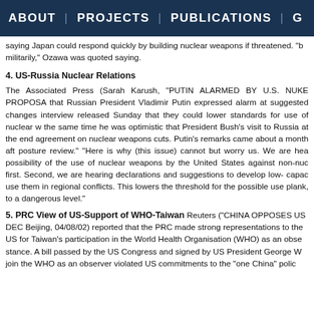ABOUT | PROJECTS | PUBLICATIONS | G
saying Japan could respond quickly by building nuclear weapons if threatened. "b militarily," Ozawa was quoted saying.
4. US-Russia Nuclear Relations
The Associated Press (Sarah Karush, "PUTIN ALARMED BY U.S. NUKE PROPOSA that Russian President Vladimir Putin expressed alarm at suggested changes interview released Sunday that they could lower standards for use of nuclear w the same time he was optimistic that President Bush's visit to Russia at the end agreement on nuclear weapons cuts. Putin's remarks came about a month aft posture review." "Here is why (this issue) cannot but worry us. We are hea possibility of the use of nuclear weapons by the United States against non-nuc first. Second, we are hearing declarations and suggestions to develop low- capac use them in regional conflicts. This lowers the threshold for the possible use plank, to a dangerous level."
5. PRC View of US-Support of WHO-Taiwan
Reuters ("CHINA OPPOSES US DEC Beijing, 04/08/02) reported that the PRC made strong representations to the US for Taiwan's participation in the World Health Organisation (WHO) as an obse stance. A bill passed by the US Congress and signed by US President George W join the WHO as an observer violated US commitments to the "one China" polic